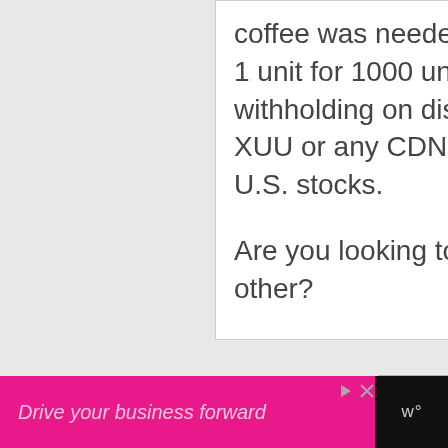coffee was needed. 🙂 Whether you own 1 unit for 1000 units or other, 15% withholding on distributions occurs with XUU or any CDN-listed ETFs that own U.S. stocks.
Are you looking to buy XUU or ITOT or other?
[Figure (other): Scroll-to-top button: grey square with white upward arrow]
Drive your business forward